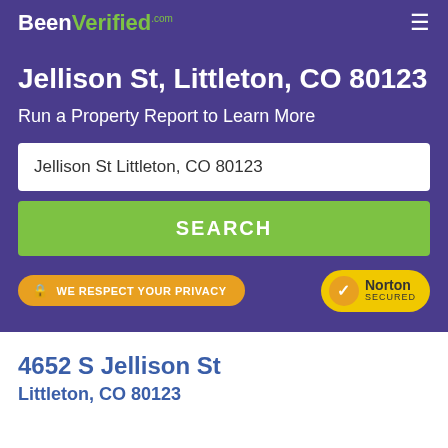BeenVerified.com
Jellison St, Littleton, CO 80123
Run a Property Report to Learn More
Jellison St Littleton, CO 80123
SEARCH
WE RESPECT YOUR PRIVACY
[Figure (logo): Norton Secured badge with yellow background and checkmark]
4652 S Jellison St
Littleton, CO 80123